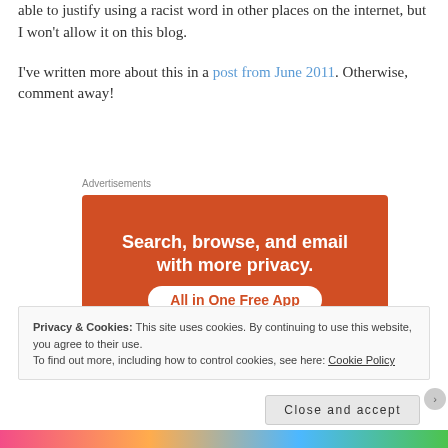able to justify using a racist word in other places on the internet, but I won’t allow it on this blog.
I’ve written more about this in a post from June 2011. Otherwise, comment away!
Advertisements
[Figure (other): Orange advertisement banner reading 'Search, browse, and email with more privacy. All in One Free App' with a phone image at the bottom.]
Privacy & Cookies: This site uses cookies. By continuing to use this website, you agree to their use.
To find out more, including how to control cookies, see here: Cookie Policy
Close and accept